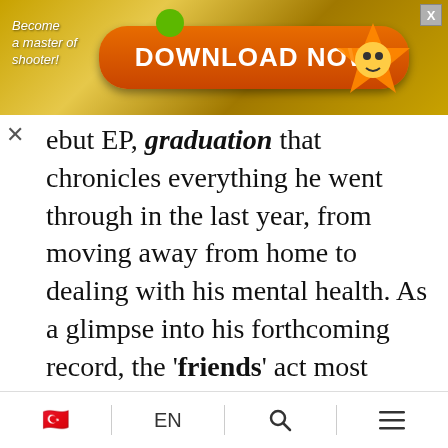[Figure (screenshot): Advertisement banner with orange/gold gradient background, text 'Become a master of shooter!', orange 'DOWNLOAD NOW' button, a star-shaped character on the right, and a close (X) button in the top right corner.]
ebut EP, graduation that chronicles everything he went through in the last year, from moving away from home to dealing with his mental health. As a glimpse into his forthcoming record, the 'friends' act most recently dropped 'wasting time'.
'wasting time' was written a few months into quarantine, and I felt like being at home was so constraining. That's where the idea came from. I wrote it with my friend,
🇹🇷  EN  🔍  ≡